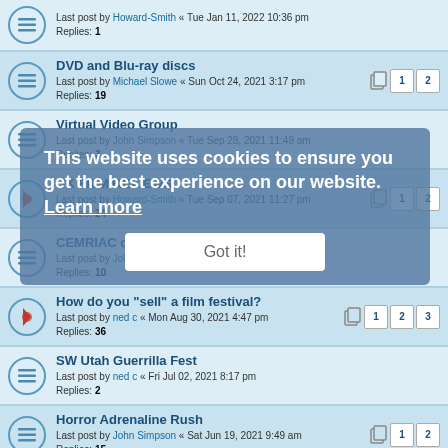Last post by Howard-Smith « Tue Jan 11, 2022 10:36 pm
Replies: 1
DVD and Blu-ray discs
Last post by Michael Slowe « Sun Oct 24, 2021 3:17 pm
Replies: 19
Virtual Video Group
Last post by John Simpson « Tue Sep 28, 2021 11:49 am
Replies: 3
UK FILM REVIEWS
Last post by Howard-Smith « Tue Sep 07, 2021 11:27 pm
Replies: 24
CEMRIAC on Zoom
Last post by John Simpson « Sun Sep 05, 2021 2:25 pm
Replies: 10
How do you "sell" a film festival?
Last post by ned c « Mon Aug 30, 2021 4:47 pm
Replies: 36
SW Utah Guerrilla Fest
Last post by ned c « Fri Jul 02, 2021 8:17 pm
Replies: 2
Horror Adrenaline Rush
Last post by John Simpson « Sat Jun 19, 2021 9:49 am
Replies: 15
About Death (Sobre la Muerte)
Last post by fraught « Mon Jun 14, 2021 11:28 pm
Replies: 30
This website uses cookies to ensure you get the best experience on our website. Learn more
Got it!